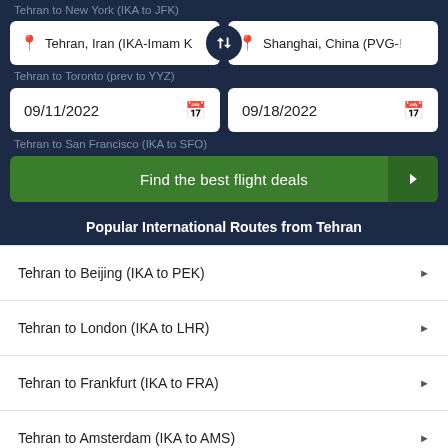Tehran to New York (IKA to JFK)
Tehran, Iran (IKA-Imam K...
Shanghai, China (PVG-...
Tehran to Toronto (prev to YYZ)
09/11/2022
09/18/2022
Tehran to San Francisco (IKA to SFO)
Find the best flight deals
Popular International Routes from Tehran
Tehran to Beijing (IKA to PEK)
Tehran to London (IKA to LHR)
Tehran to Frankfurt (IKA to FRA)
Tehran to Amsterdam (IKA to AMS)
Tehran to Madrid (IKA to MAD)